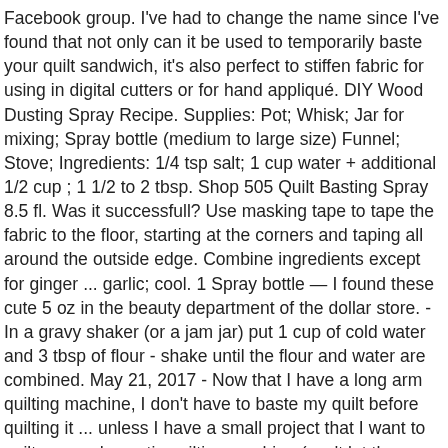Facebook group. I've had to change the name since I've found that not only can it be used to temporarily baste your quilt sandwich, it's also perfect to stiffen fabric for using in digital cutters or for hand appliqué. DIY Wood Dusting Spray Recipe. Supplies: Pot; Whisk; Jar for mixing; Spray bottle (medium to large size) Funnel; Stove; Ingredients: 1/4 tsp salt; 1 cup water + additional 1/2 cup ; 1 1/2 to 2 tbsp. Shop 505 Quilt Basting Spray 8.5 fl. Was it successfull? Use masking tape to tape the fabric to the floor, starting at the corners and taping all around the outside edge. Combine ingredients except for ginger ... garlic; cool. 1 Spray bottle — I found these cute 5 oz in the beauty department of the dollar store. - In a gravy shaker (or a jam jar) put 1 cup of cold water and 3 tbsp of flour - shake until the flour and water are combined. May 21, 2017 - Now that I have a long arm quilting machine, I don't have to baste my quilt before quilting it ... unless I have a small project that I want to quilt on my domestic quilting machine (can't let those skills deteriorate!). Subscribe to my Youtube channel to receive automatic notifications when new videos